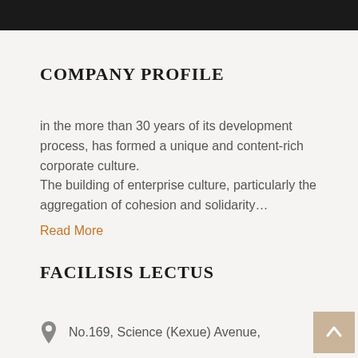COMPANY PROFILE
in the more than 30 years of its development process, has formed a unique and content-rich corporate culture.
The building of enterprise culture, particularly the aggregation of cohesion and solidarity…
Read More
FACILISIS LECTUS
No.169, Science (Kexue) Avenue,
[Figure (other): Chat Now customer support widget with red background and headset icon]
[Figure (other): Back to top arrow button in beige/tan color]